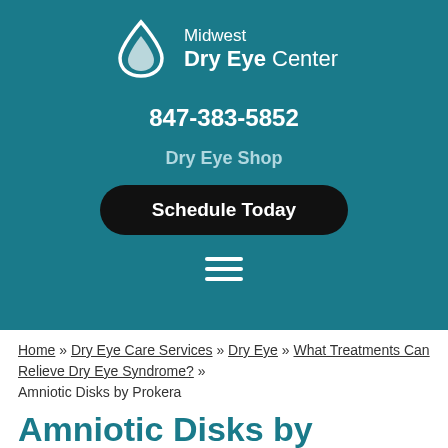[Figure (logo): Midwest Dry Eye Center logo with water drop icon, white text on teal background]
847-383-5852
Dry Eye Shop
Schedule Today
[Figure (other): Hamburger menu icon (three horizontal white lines)]
Home » Dry Eye Care Services » Dry Eye » What Treatments Can Relieve Dry Eye Syndrome? » Amniotic Disks by Prokera
Amniotic Disks by